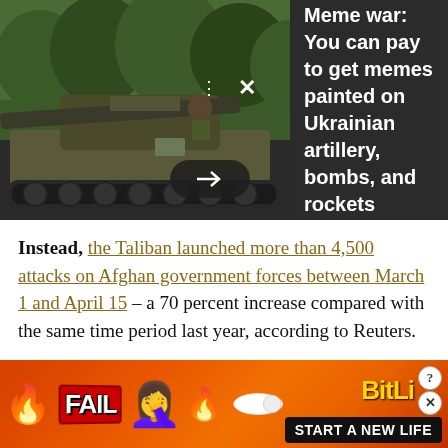[Figure (photo): Military tank/artillery vehicle in forest setting, dark themed news article banner with headline text on right side]
Instead, the Taliban launched more than 4,500 attacks on Afghan government forces between March 1 and April 15 – a 70 percent increase compared with the same time period last year, according to Reuters.
It's an axiom that the worse things are, the less the military leaders talk about them. So it should come as
[Figure (infographic): BitLife mobile game advertisement banner with FAIL logo, fire/bomb emojis, girl emoji, and START A NEW LIFE text on dark background]